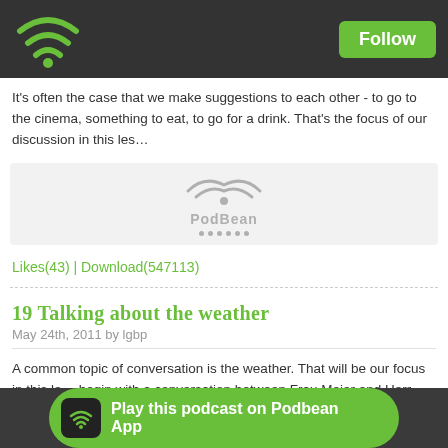Follow
It's often the case that we make suggestions to each other - to go to the cinema, something to eat, to go for a drink. That's the focus of our discussion in this lesson.
[Figure (other): PodBean podcast player widget]
Likes(43) | Download(547113)
19 Talking about the weather
May 24th, 2011 by lgbp
A common topic of conversation is the weather. That will be our focus in this lesson. We begin with a conversation between Frau Meier and Herr Mueller who are neighbours but nonetheless, address each other formally.
[Figure (other): PodBean podcast player widget (partial)]
Play this podcast on Podbean App